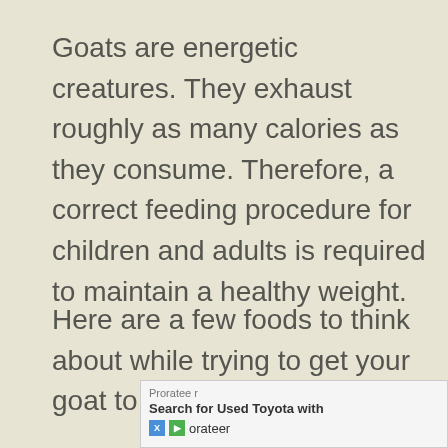Goats are energetic creatures. They exhaust roughly as many calories as they consume. Therefore, a correct feeding procedure for children and adults is required to maintain a healthy weight.
Here are a few foods to think about while trying to get your goat to put on weight:
Prorateer
Search for Used Toyota with
X P orateer